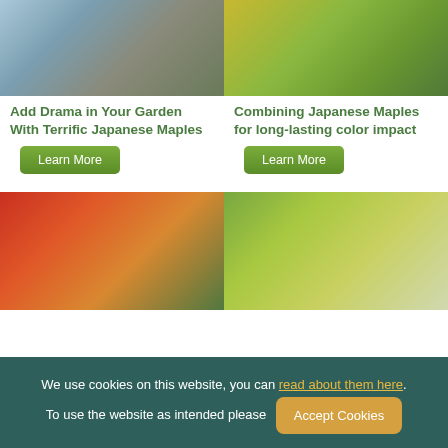[Figure (photo): Waterfall in a Japanese garden with rocks and ferns]
[Figure (photo): Yellow and green Japanese maple tree branches]
Add Drama in Your Garden With Terrific Japanese Maples
Combining Japanese Maples for long-lasting color impact
Learn More
Learn More
[Figure (photo): Autumn red and orange Japanese maple trees in a Japanese garden]
[Figure (photo): Green bonsai maple tree on a stand]
We use cookies on this website, you can read about them here. To use the website as intended please Accept Cookies